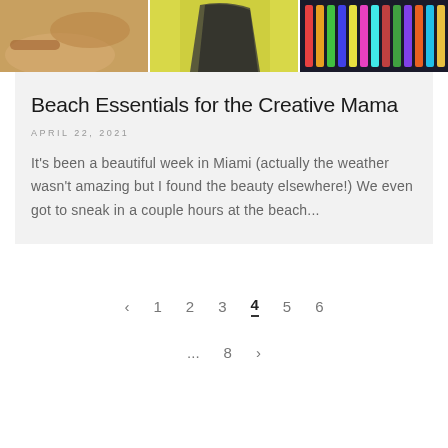[Figure (photo): Three-panel photo strip at top: left panel shows hands/craft items, middle panel shows person in patterned clothing against yellow background, right panel shows colorful pencils/art supplies on dark surface]
Beach Essentials for the Creative Mama
APRIL 22, 2021
It's been a beautiful week in Miami (actually the weather wasn't amazing but I found the beauty elsewhere!) We even got to sneak in a couple hours at the beach...
< 1 2 3 4 5 6
... 8 >